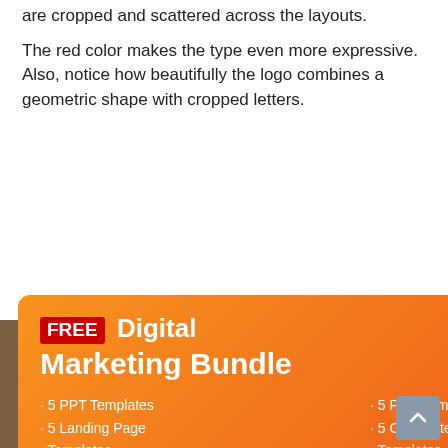are cropped and scattered across the layouts.
The red color makes the type even more expressive. Also, notice how beautifully the logo combines a geometric shape with cropped letters.
[Figure (infographic): Orange gradient popup ad for a FREE Digital Marketing Bundle. Contains title, bullet list of 5 PPT Templates, 5 Landing Page Templates, 5 PSD Templates, 5 Corporate Identity Templates, email input field, and Get Bundle button. Has a close (X) button and partial 'ND' text visible. Background shows a partial photo of a llama and people.]